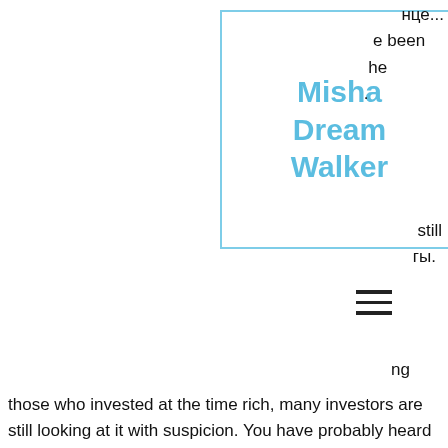[Figure (logo): Logo with text 'Misha Dream Walker' in light blue on white background with light blue border]
been
he
.
still
гы.
ng
those who invested at the time rich, many investors are still looking at it with suspicion. You have probably heard countless times how this crypto market was compared to a balloon that's just about to blow, warning passionate crypto miners about the potential loss of the great amount of what they have invested.
The birthday info is only to 'prove' that you're 18 years or older, bitstarz время выплаты. Paybis also take security very seriously and to that end implement stringent security procedures and follow all the required KYC